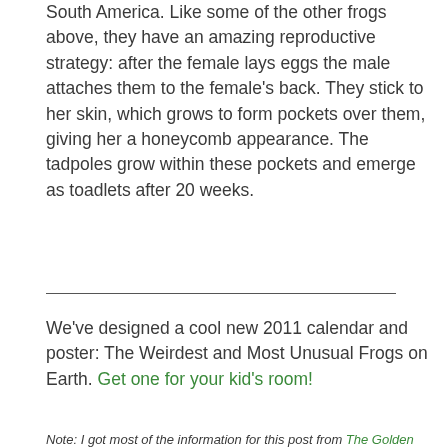South America. Like some of the other frogs above, they have an amazing reproductive strategy: after the female lays eggs the male attaches them to the female's back. They stick to her skin, which grows to form pockets over them, giving her a honeycomb appearance. The tadpoles grow within these pockets and emerge as toadlets after 20 weeks.
We've designed a cool new 2011 calendar and poster: The Weirdest and Most Unusual Frogs on Earth. Get one for your kid's room!
Note: I got most of the information for this post from The Golden Guide to Frogs and Toads:
[Figure (other): A light gray rectangular image placeholder, likely a book cover image for The Golden Guide to Frogs and Toads]